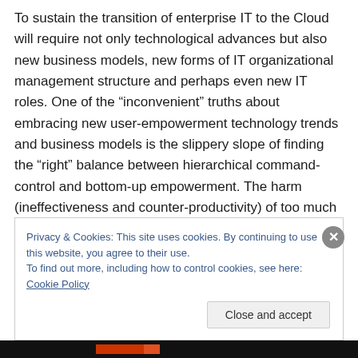To sustain the transition of enterprise IT to the Cloud will require not only technological advances but also new business models, new forms of IT organizational management structure and perhaps even new IT roles. One of the “inconvenient” truths about embracing new user-empowerment technology trends and business models is the slippery slope of finding the “right” balance between hierarchical command-control and bottom-up empowerment. The harm (ineffectiveness and counter-productivity) of too much top-down control can be matched or even surpassed by the dangers of too little control. User
Privacy & Cookies: This site uses cookies. By continuing to use this website, you agree to their use.
To find out more, including how to control cookies, see here: Cookie Policy
Close and accept